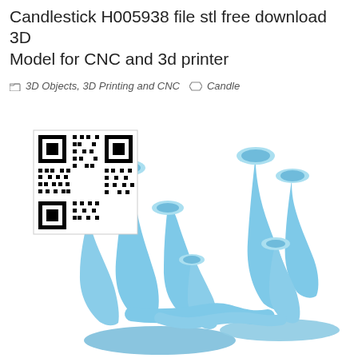Candlestick H005938 file stl free download 3D Model for CNC and 3d printer
3D Objects, 3D Printing and CNC   Candle
[Figure (photo): 3D render of a candlestick model H005938 showing multiple twisted trumpet-shaped candle holders branching from a central base, rendered in light blue. A QR code is visible in the upper-left corner of the image.]